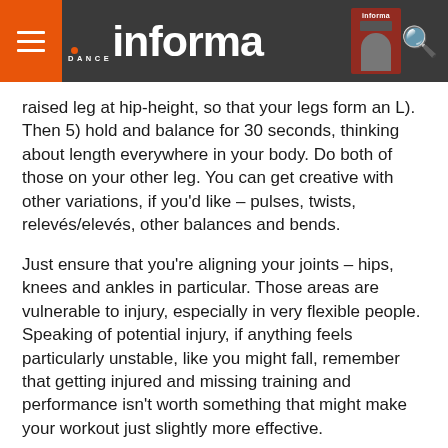Dance Informa
raised leg at hip-height, so that your legs form an L). Then 5) hold and balance for 30 seconds, thinking about length everywhere in your body. Do both of those on your other leg. You can get creative with other variations, if you'd like – pulses, twists, relevés/elevés, other balances and bends.
Just ensure that you're aligning your joints – hips, knees and ankles in particular. Those areas are vulnerable to injury, especially in very flexible people. Speaking of potential injury, if anything feels particularly unstable, like you might fall, remember that getting injured and missing training and performance isn't worth something that might make your workout just slightly more effective.
Then step off the structure to a relatively level area (watch out for little ditches and other areas that could be